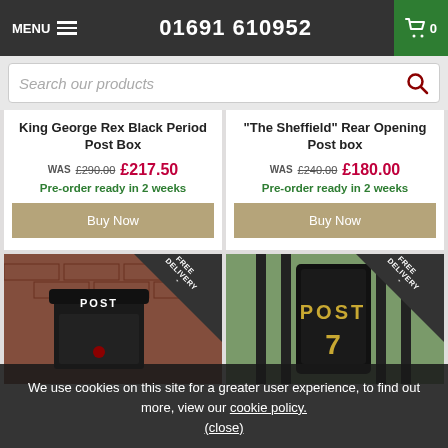MENU  01691 610952  0
Search our products
King George Rex Black Period Post Box
WAS £290.00  £217.50
Pre-order ready in 2 weeks
"The Sheffield" Rear Opening Post box
WAS £240.00  £180.00
Pre-order ready in 2 weeks
[Figure (photo): Black wall-mounted post box on brick wall, with FREE DELIVERY badge in corner]
[Figure (photo): Black gate-mounted post box with number 7, with FREE DELIVERY badge in corner]
We use cookies on this site for a greater user experience, to find out more, view our cookie policy.
(close)